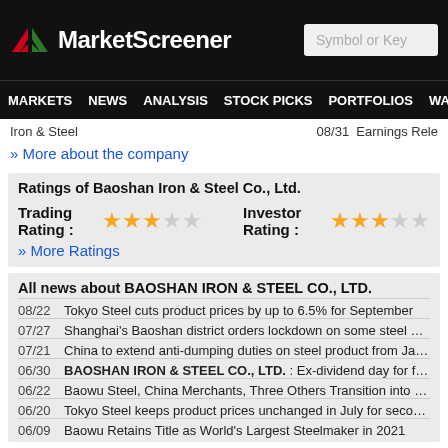MarketScreener
MARKETS NEWS ANALYSIS STOCK PICKS PORTFOLIOS WATCHLI
Iron & Steel   08/31  Earnings Rele
» More about the company
Ratings of Baoshan Iron & Steel Co., Ltd.
Trading Rating : ★★★☆☆   Investor Rating : ★★★☆☆
» More Ratings
All news about BAOSHAN IRON & STEEL CO., LTD.
08/22  Tokyo Steel cuts product prices by up to 6.5% for September
07/27  Shanghai's Baoshan district orders lockdown on some steel warehouses
07/21  China to extend anti-dumping duties on steel product from Japan, South K
06/30  BAOSHAN IRON & STEEL CO., LTD. : Ex-dividend day for final dividend
06/22  Baowu Steel, China Merchants, Three Others Transition into Capital Inves
06/20  Tokyo Steel keeps product prices unchanged in July for second month
06/09  Baowu Retains Title as World's Largest Steelmaker in 2021